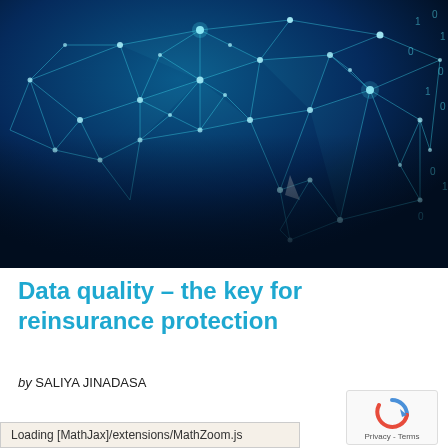[Figure (photo): Abstract digital network visualization with glowing blue nodes and connecting lines forming a mesh structure against a dark blue background, resembling a brain or neural network shape.]
Data quality - the key for reinsurance protection
by SALIYA JINADASA
[Figure (other): reCAPTCHA widget showing the circular arrow logo and Privacy - Terms text]
Loading [MathJax]/extensions/MathZoom.js